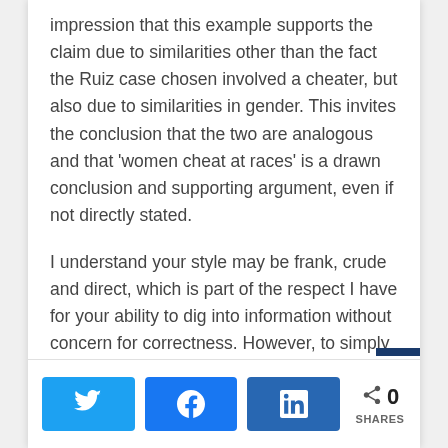impression that this example supports the claim due to similarities other than the fact the Ruiz case chosen involved a cheater, but also due to similarities in gender. This invites the conclusion that the two are analogous and that 'women cheat at races' is a drawn conclusion and supporting argument, even if not directly stated.
I understand your style may be frank, crude and direct, which is part of the respect I have for your ability to dig into information without concern for correctness. However, to simply state that one's comments are 'idiotic' is seemingly rather vain and defensive response to a rather constructive criticism.
[Figure (other): Social share buttons: Twitter, Facebook, LinkedIn, and a share count showing 0 SHARES]